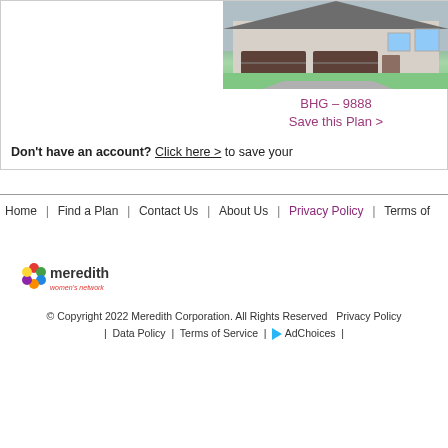[Figure (photo): House exterior photo showing a two-story home with garage doors and landscaping]
BHG – 9888
Save this Plan >
Don't have an account? Click here > to save your
Home | Find a Plan | Contact Us | About Us | Privacy Policy | Terms of
[Figure (logo): Meredith women's network logo with colorful star/flower icon]
© Copyright 2022 Meredith Corporation. All Rights Reserved   Privacy Policy  |  Data Policy  |  Terms of Service  |  AdChoices  |